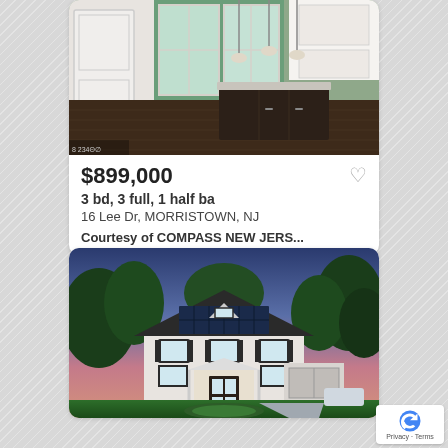[Figure (photo): Interior photo of a modern kitchen/living area with dark hardwood floors, a large kitchen island with dark cabinets, white upper cabinets, and large windows looking out to greenery]
$899,000
3 bd, 3 full, 1 half ba
16 Lee Dr, MORRISTOWN, NJ
Courtesy of COMPASS NEW JERS...
[Figure (photo): Aerial/exterior photo of a large colonial-style home at dusk with solar panels on the roof, surrounded by mature trees and a manicured lawn with circular garden bed in front]